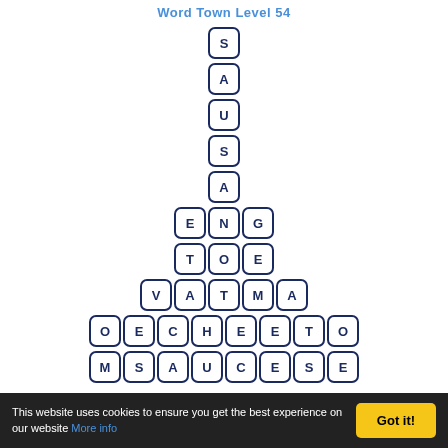Word Town Level 54
[Figure (other): Word Town Level 55 puzzle grid showing letter tiles arranged in a pyramid: S, A, U, S, A at top (single column), then ENG, TOE, VATMA, OECHEETO, MSAUCESE rows widening downward]
Word Town Level 55
[Figure (other): Partial view of Word Town Level 55 next puzzle, showing only the letter O tile]
This website uses cookies to ensure you get the best experience on our website More info